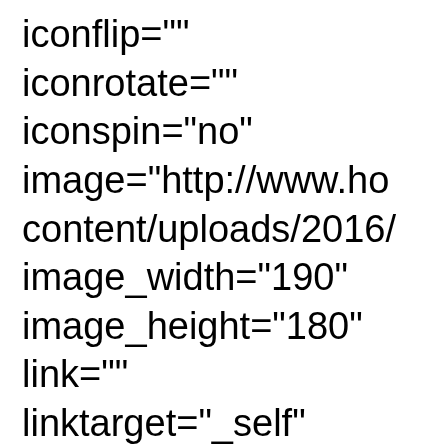iconflip=""
iconrotate=""
iconspin="no"
image="http://www.ho
content/uploads/2016/
image_width="190"
image_height="180"
link=""
linktarget="_self"
linktext=""
animation_type="0"